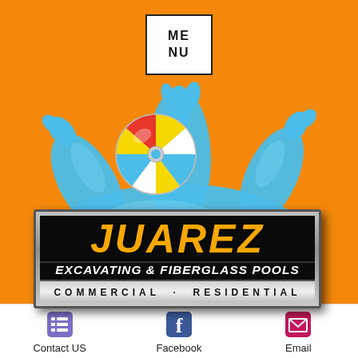[Figure (logo): Juarez Excavating & Fiberglass Pools logo with water splash and beach ball on orange background. Logo text: JUAREZ / EXCAVATING & FIBERGLASS POOLS / COMMERCIAL · RESIDENTIAL. Menu button top center.]
Contact US
Facebook
Email